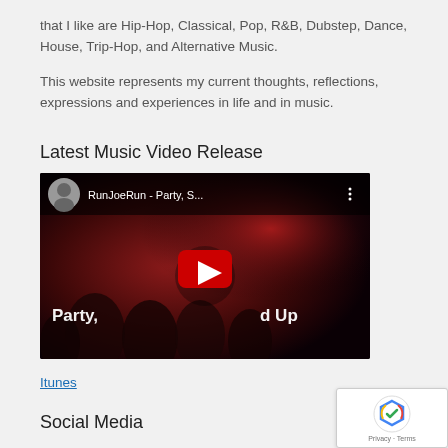that I like are Hip-Hop, Classical, Pop, R&B, Dubstep, Dance, House, Trip-Hop, and Alternative Music.
This website represents my current thoughts, reflections, expressions and experiences in life and in music.
Latest Music Video Release
[Figure (screenshot): YouTube video thumbnail for RunJoeRun - Party, S... showing 'Party, [Stand] Up' text with a red play button and a circular avatar in the top bar]
Itunes
Social Media